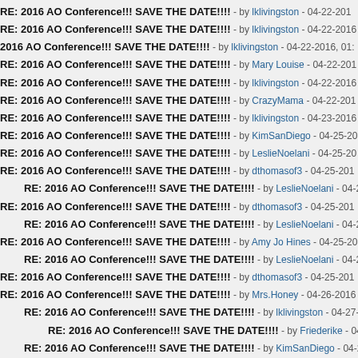RE: 2016 AO Conference!!! SAVE THE DATE!!!! - by lklivingston - 04-22-201
RE: 2016 AO Conference!!! SAVE THE DATE!!!! - by lklivingston - 04-22-2016
2016 AO Conference!!! SAVE THE DATE!!!! - by lklivingston - 04-22-2016, 01:
RE: 2016 AO Conference!!! SAVE THE DATE!!!! - by Mary Louise - 04-22-201
RE: 2016 AO Conference!!! SAVE THE DATE!!!! - by lklivingston - 04-22-2016
RE: 2016 AO Conference!!! SAVE THE DATE!!!! - by CrazyMama - 04-22-201
RE: 2016 AO Conference!!! SAVE THE DATE!!!! - by lklivingston - 04-23-2016
RE: 2016 AO Conference!!! SAVE THE DATE!!!! - by KimSanDiego - 04-25-20
RE: 2016 AO Conference!!! SAVE THE DATE!!!! - by LeslieNoelani - 04-25-20
RE: 2016 AO Conference!!! SAVE THE DATE!!!! - by dthomasof3 - 04-25-201
RE: 2016 AO Conference!!! SAVE THE DATE!!!! - by LeslieNoelani - 04-25
RE: 2016 AO Conference!!! SAVE THE DATE!!!! - by dthomasof3 - 04-25-201
RE: 2016 AO Conference!!! SAVE THE DATE!!!! - by LeslieNoelani - 04-25
RE: 2016 AO Conference!!! SAVE THE DATE!!!! - by Amy Jo Hines - 04-25-20
RE: 2016 AO Conference!!! SAVE THE DATE!!!! - by LeslieNoelani - 04-25
RE: 2016 AO Conference!!! SAVE THE DATE!!!! - by dthomasof3 - 04-25-201
RE: 2016 AO Conference!!! SAVE THE DATE!!!! - by Mrs.Honey - 04-26-2016
RE: 2016 AO Conference!!! SAVE THE DATE!!!! - by lklivingston - 04-27-2
RE: 2016 AO Conference!!! SAVE THE DATE!!!! - by Friederike - 04-28-
RE: 2016 AO Conference!!! SAVE THE DATE!!!! - by KimSanDiego - 04-28
RE: 2016 AO Conference!!! SAVE THE DATE!!!! - by SowingLittleSeeds - 0
RE: 2016 AO Conference!!! SAVE THE DATE!!!! - by CrazyMama - 04-27-201
RE: 2016 AO Conference!!! SAVE THE DATE!!!! - by lklivingston - 04-27-20
RE: 2016 AO Conference!!! SAVE THE DATE!!!! - by Javamom - 04-30-20
RE: 2016 AO Conference!!! SAVE THE DATE!!!! - by CrazyMama - 04-27-